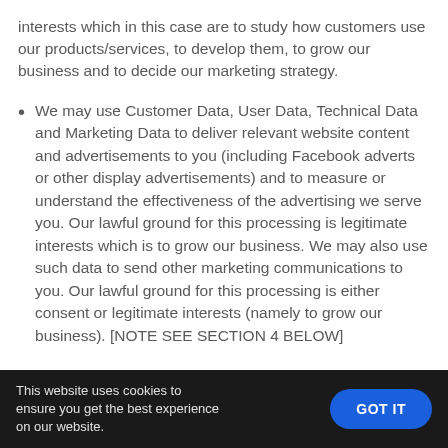interests which in this case are to study how customers use our products/services, to develop them, to grow our business and to decide our marketing strategy.
We may use Customer Data, User Data, Technical Data and Marketing Data to deliver relevant website content and advertisements to you (including Facebook adverts or other display advertisements) and to measure or understand the effectiveness of the advertising we serve you. Our lawful ground for this processing is legitimate interests which is to grow our business. We may also use such data to send other marketing communications to you. Our lawful ground for this processing is either consent or legitimate interests (namely to grow our business). [NOTE SEE SECTION 4 BELOW]
This website uses cookies to ensure you get the best experience on our website.